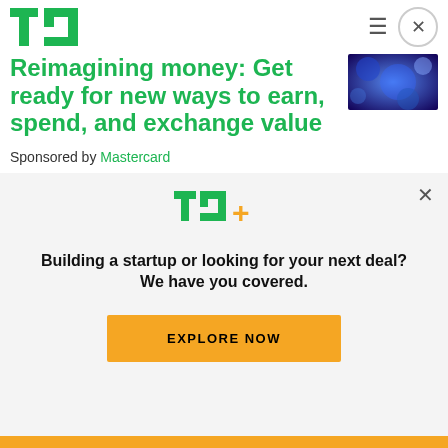TechCrunch logo, hamburger menu, close button
Reimagining money: Get ready for new ways to earn, spend, and exchange value
Sponsored by Mastercard
Equity drops every Monday at 7:00 a.m. PST, Wednesday, and Friday at 6:00 AM PST, so
[Figure (screenshot): TC+ modal overlay with logo, headline 'Building a startup or looking for your next deal? We have you covered.' and EXPLORE NOW button]
Building a startup or looking for your next deal? We have you covered.